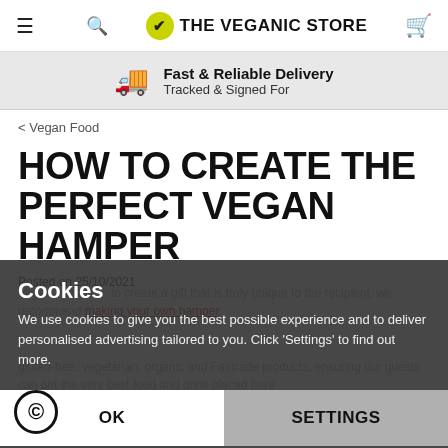THE VEGANIC STORE
Fast & Reliable Delivery — Tracked & Signed For
< Vegan Food
HOW TO CREATE THE PERFECT VEGAN HAMPER
Posted on 25/10/2021
Cookies
We use cookies to give you the best possible experience and to deliver personalised advertising tailored to you. Click 'Settings' to find out more.
Vegan Hampers, to create a gift that is truly unique to the recipient, we recommend making your own hamper.
gluten-free, vegetarian, organic and Fairtrade products, ensuring our guests can get the very best food and drink placed here
OK
SETTINGS